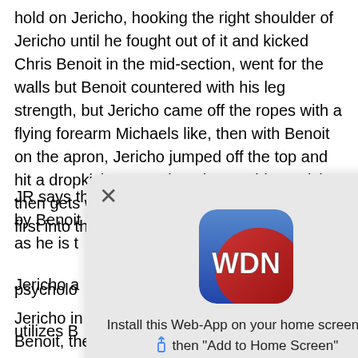hold on Jericho, hooking the right shoulder of Jericho until he fought out of it and kicked Chris Benoit in the mid-section, went for the walls but Benoit countered with his leg strength, but Jericho came off the ropes with a flying forearm Michaels like, then with Benoit on the apron, Jericho jumped off the top and hit a dropkick to Benoit to the outside. Jericho then gets whipped on the outside SHOULDER first into the steel steps.
JR says there is a METHOD to the MADNESS by Benoit as he is t… psychology…
[Figure (screenshot): A mobile popup/toast overlay showing a WDN app icon (blue and red rounded square with WDN text) with an X close button and text: Install this Web-App on your home screen: tap [share icon] then "Add to Home Screen"]
Jericho a… and utilizes B… d plants him knee… step set up on it`s… drive Jericho`s… fortunes.
Jericho in the ring hitting a back breaker to Benoit, then a